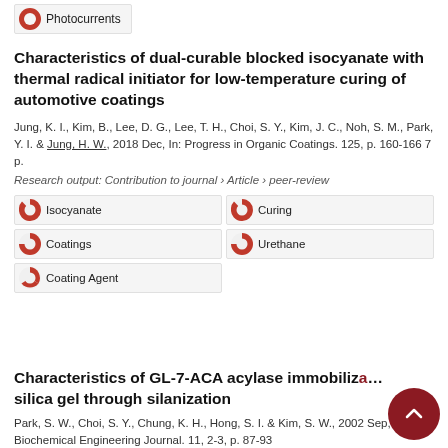Photocurrents
Characteristics of dual-curable blocked isocyanate with thermal radical initiator for low-temperature curing of automotive coatings
Jung, K. I., Kim, B., Lee, D. G., Lee, T. H., Choi, S. Y., Kim, J. C., Noh, S. M., Park, Y. I. & Jung, H. W., 2018 Dec, In: Progress in Organic Coatings. 125, p. 160-166 7 p.
Research output: Contribution to journal › Article › peer-review
Isocyanate
Curing
Coatings
Urethane
Coating Agent
Characteristics of GL-7-ACA acylase immobiliz... silica gel through silanization
Park, S. W., Choi, S. Y., Chung, K. H., Hong, S. I. & Kim, S. W., 2002 Sep, In: Biochemical Engineering Journal. 11, 2-3, p. 87-93